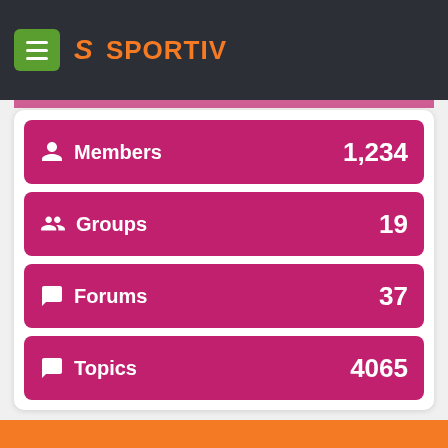SPORTIV
Members 1,234
Groups 19
Forums 37
Topics 4065
Alamat
JL Tanjung Duren Utara IV No 65A
Grogol Petamburan, Jakarta Barat 11430
DKI Jakarta, Indonesia
Telpon: +62 21 29 414 655
Email: support@sportiv.asia